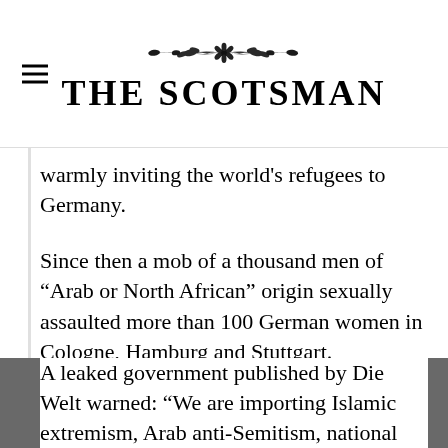THE SCOTSMAN
warmly inviting the world's refugees to Germany.
Since then a mob of a thousand men of “Arab or North African” origin sexually assaulted more than 100 German women in Cologne, Hamburg and Stuttgart.
Germany will spend at least €17 billion on asylum seekers in 2016.
A leaked government published by Die Welt warned: “We are importing Islamic extremism, Arab anti-Semitism, national and